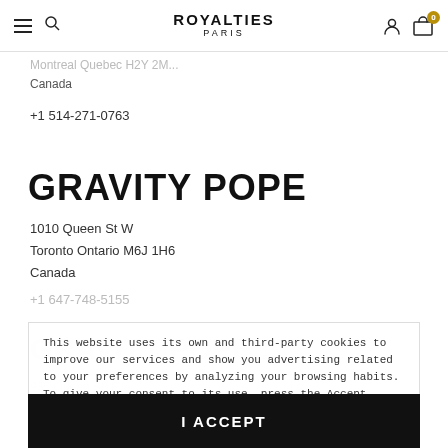ROYALTIES PARIS
Montreal Quebec H2Y 2M — Canada
+1 514-271-0763
GRAVITY POPE
1010 Queen St W
Toronto Ontario M6J 1H6
Canada
+1 647-748-5155
This website uses its own and third-party cookies to improve our services and show you advertising related to your preferences by analyzing your browsing habits. To give your consent to its use, press the Accept button. More information customize cookies
I ACCEPT